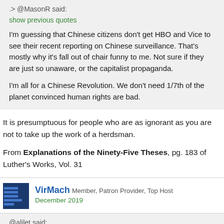.> @MasonR said:
show previous quotes
I'm guessing that Chinese citizens don't get HBO and Vice to see their recent reporting on Chinese surveillance. That's mostly why it's fall out of chair funny to me. Not sure if they are just so unaware, or the capitalist propaganda.

I'm all for a Chinese Revolution. We don't need 1/7th of the planet convinced human rights are bad.
It is presumptuous for people who are as ignorant as you are not to take up the work of a herdsman.
From Explanations of the Ninety-Five Theses, pg. 183 of Luther's Works, Vol. 31
VirMach Member, Patron Provider, Top Host
December 2019
@alilet said:
show previous quotes